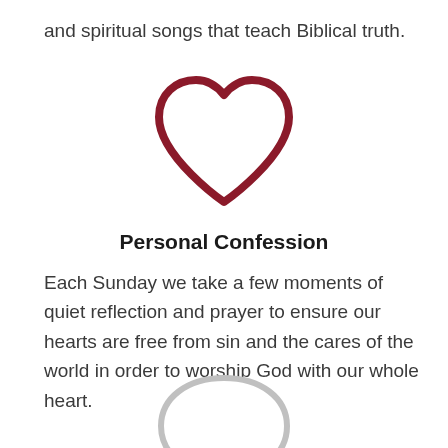and spiritual songs that teach Biblical truth.
[Figure (illustration): Outline heart icon in dark red/maroon color]
Personal Confession
Each Sunday we take a few moments of quiet reflection and prayer to ensure our hearts are free from sin and the cares of the world in order to worship God with our whole heart.
[Figure (illustration): Outline speech bubble / chat bubble icon in light gray color]